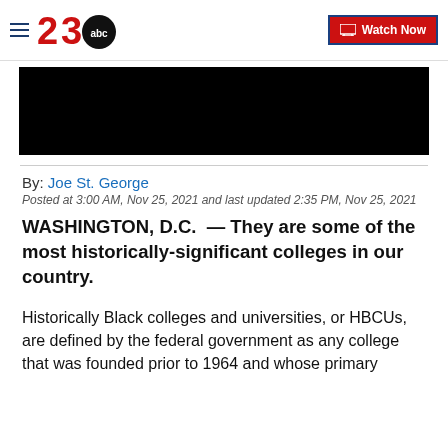23abc — Watch Now
[Figure (screenshot): Black video player placeholder block]
By: Joe St. George
Posted at 3:00 AM, Nov 25, 2021 and last updated 2:35 PM, Nov 25, 2021
WASHINGTON, D.C.  — They are some of the most historically-significant colleges in our country.
Historically Black colleges and universities, or HBCUs, are defined by the federal government as any college that was founded prior to 1964 and whose primary